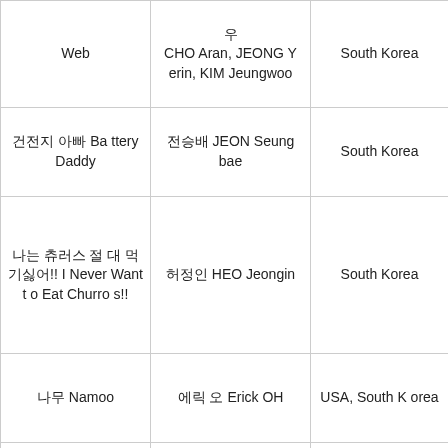| Title | Director/Cast | Country |
| --- | --- | --- |
| Web | 우
CHO Aran, JEONG Yerin, KIM Jeungwoo | South Korea |
| 건전지 아빠 Battery Daddy | 전승배 JEON Seungbae | South Korea |
| 나는 츄러스 절대 먹기싫어!! I Never Want to Eat Churros!! | 허정인 HEO Jeongin | South Korea |
| 나무 Namoo | 에릭 오 Erick OH | USA, South Korea |
| 레드 테이블 Red Table | 김학현 KIM Hakhyun | South Korea |
| 물을 Silent Let | 이민지, 이재아, 신수현 | South K... |